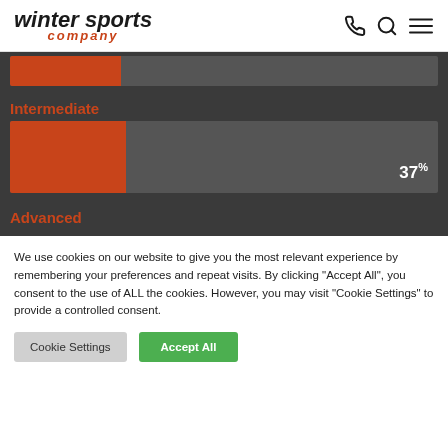winter sports company
[Figure (bar-chart): Skill Level Distribution]
Intermediate
Advanced
We use cookies on our website to give you the most relevant experience by remembering your preferences and repeat visits. By clicking "Accept All", you consent to the use of ALL the cookies. However, you may visit "Cookie Settings" to provide a controlled consent.
Cookie Settings | Accept All